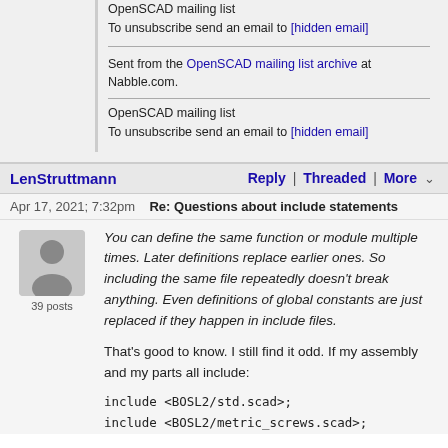OpenSCAD mailing list
To unsubscribe send an email to [hidden email]
Sent from the OpenSCAD mailing list archive at Nabble.com.
OpenSCAD mailing list
To unsubscribe send an email to [hidden email]
LenStruttmann
Reply | Threaded | More
Apr 17, 2021; 7:32pm   Re: Questions about include statements
[Figure (illustration): Generic user avatar icon, gray silhouette of a person]
39 posts
You can define the same function or module multiple times.  Later definitions replace earlier ones.  So including the same file repeatedly doesn't break anything.  Even definitions of global constants are just replaced if they happen in include files.
That's good to know.  I still find it odd.  If my assembly and my parts all include:
include <BOSL2/std.scad>;
include <BOSL2/metric_screws.scad>;